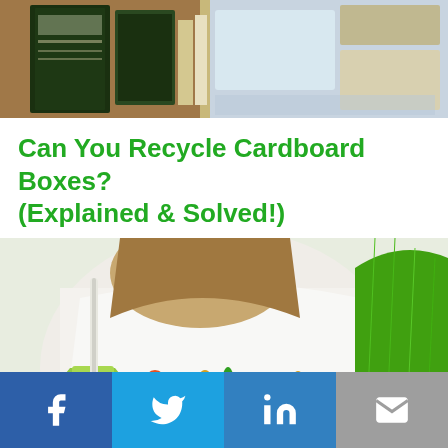[Figure (photo): Top portion of a photo showing books stacked on a desk, including a dark green book with decorative cover and other books/papers]
Can You Recycle Cardboard Boxes? (Explained & Solved!)
[Figure (photo): Person wearing a white vegan-themed t-shirt with vegetable graphics, holding a green smoothie with a straw, with fresh asparagus and broccoli visible]
[Figure (infographic): Social sharing bar with four buttons: Facebook (blue), Twitter (light blue), LinkedIn (blue), Email (grey)]